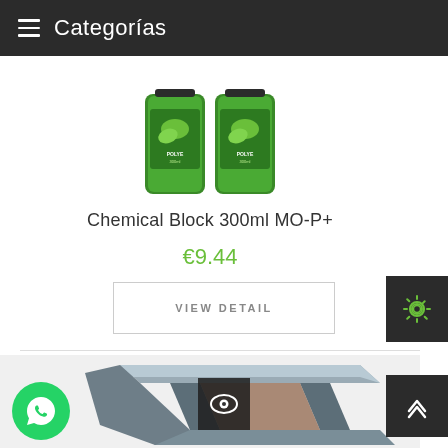Categorías
[Figure (photo): Two green Chemical Block 300ml MO-P+ spray canisters on white background]
Chemical Block 300ml MO-P+
€9.44
VIEW DETAIL
[Figure (photo): Gray steel I-beam or channel rail section viewed from the end/angled perspective]